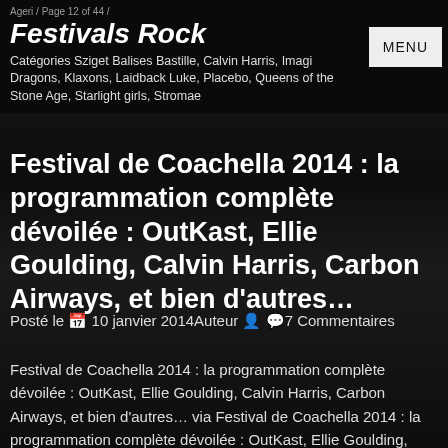Ageri / Page 12 of 44 /
Festivals Rock
Catégories Sziget Balises Bastille, Calvin Harris, Imagine Dragons, Klaxons, Laidback Luke, Placebo, Queens of the Stone Age, Starlight girls, Stromae
Festival de Coachella 2014 : la programmation complète dévoilée : OutKast, Ellie Goulding, Calvin Harris, Carbon Airways, et bien d'autres…
Posté le 📅 10 janvier 2014Auteur 👤 🗨 7 Commentaires
Festival de Coachella 2014 : la programmation complète dévoilée : OutKast, Ellie Goulding, Calvin Harris, Carbon Airways, et bien d'autres… via Festival de Coachella 2014 : la programmation complète dévoilée : OutKast, Ellie Goulding, Calvin Harris, Carbon Airways, et bien